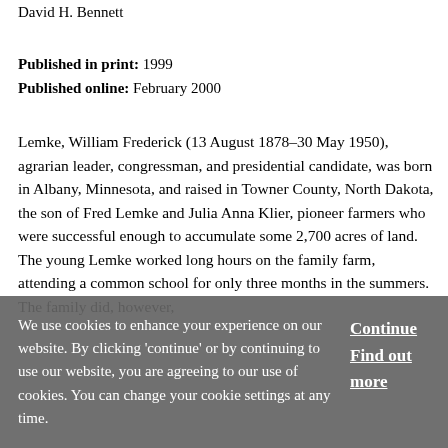David H. Bennett
Published in print: 1999
Published online: February 2000
Lemke, William Frederick (13 August 1878–30 May 1950), agrarian leader, congressman, and presidential candidate, was born in Albany, Minnesota, and raised in Towner County, North Dakota, the son of Fred Lemke and Julia Anna Klier, pioneer farmers who were successful enough to accumulate some 2,700 acres of land. The young Lemke worked long hours on the family farm, attending a common school for only three months in the summers. The family did, however,
We use cookies to enhance your experience on our website. By clicking 'continue' or by continuing to use our website, you are agreeing to our use of cookies. You can change your cookie settings at any time.